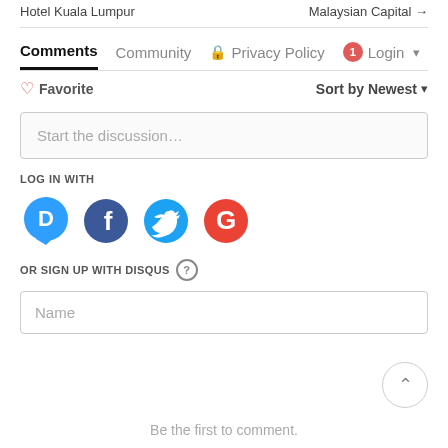Hotel Kuala Lumpur   Malaysian Capital →
Comments | Community | 🔒 Privacy Policy | 🔴1 Login ▾
♡ Favorite   Sort by Newest ▾
Start the discussion…
LOG IN WITH
[Figure (logo): Social login icons: Disqus (blue speech bubble with D), Facebook (dark blue circle with f), Twitter (light blue circle with bird), Google (red circle with G)]
OR SIGN UP WITH DISQUS ?
Name
Be the first to comment.